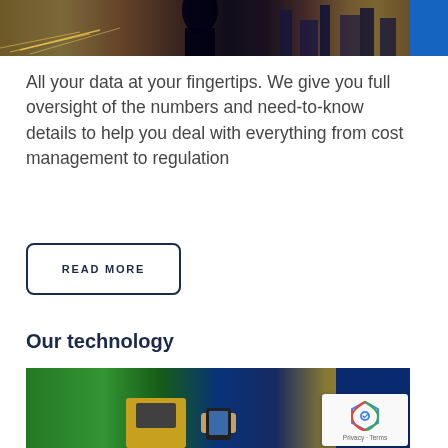[Figure (photo): Aerial city night view photo at the top of the page, showing highways with light trails and buildings]
All your data at your fingertips. We give you full oversight of the numbers and need-to-know details to help you deal with everything from cost management to regulation
READ MORE
Our technology
[Figure (photo): Person using a smartphone at a transit gate or yellow kiosk terminal, with a person in blue jacket in background]